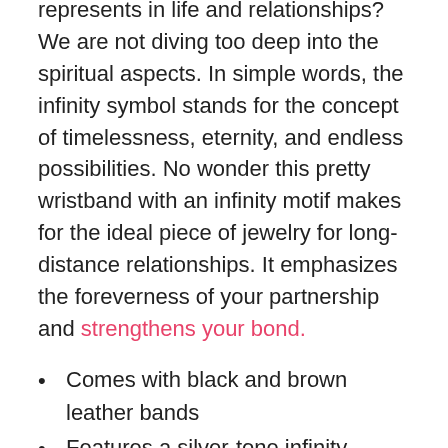represents in life and relationships? We are not diving too deep into the spiritual aspects. In simple words, the infinity symbol stands for the concept of timelessness, eternity, and endless possibilities. No wonder this pretty wristband with an infinity motif makes for the ideal piece of jewelry for long-distance relationships. It emphasizes the foreverness of your partnership and strengthens your bond.
Comes with black and brown leather bands
Features a silver-tone infinity charm
Adjustable length up to 9.06in
Includes a cute velvet pouch